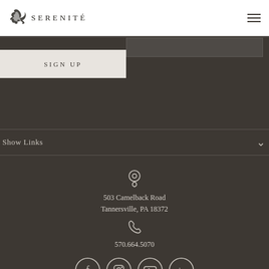SERENITÉ
SIGN UP
Show Links
[Figure (other): Location pin icon]
503 Camelback Road
Tannersville, PA 18372
[Figure (other): Phone icon]
570.664.5070
[Figure (other): Social media icons: Facebook, Instagram, YouTube, LinkedIn]